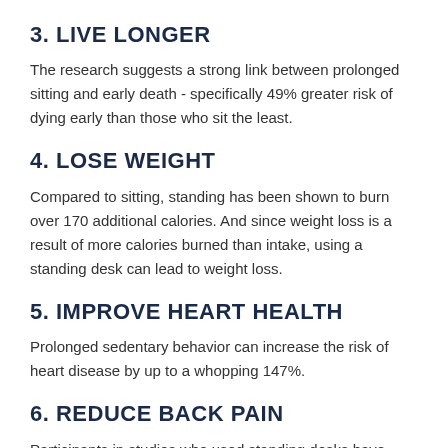3. LIVE LONGER
The research suggests a strong link between prolonged sitting and early death - specifically 49% greater risk of dying early than those who sit the least.
4. LOSE WEIGHT
Compared to sitting, standing has been shown to burn over 170 additional calories. And since weight loss is a result of more calories burned than intake, using a standing desk can lead to weight loss.
5. IMPROVE HEART HEALTH
Prolonged sedentary behavior can increase the risk of heart disease by up to a whopping 147%.
6. REDUCE BACK PAIN
Participants in studies who used standing desks have